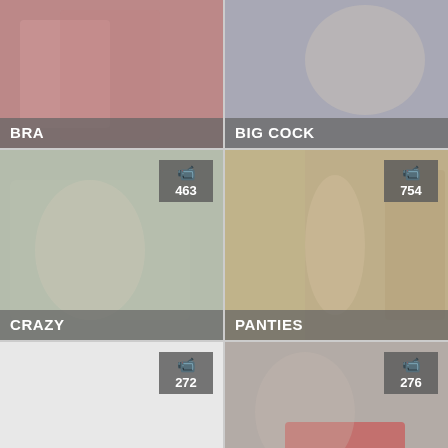[Figure (photo): Video thumbnail grid cell - BRA category, no badge shown]
[Figure (photo): Video thumbnail grid cell - BIG COCK category, no badge shown]
[Figure (photo): Video thumbnail grid cell - CRAZY category, badge showing camera icon and count 463]
[Figure (photo): Video thumbnail grid cell - PANTIES category, badge showing camera icon and count 754]
[Figure (photo): Video thumbnail grid cell - RAUNCHY category, blank thumbnail, badge showing camera icon and count 272]
[Figure (photo): Video thumbnail grid cell - SHAVED PUSSY category, badge showing camera icon and count 276]
[Figure (photo): Video thumbnail grid cell - bottom left, blank thumbnail, badge showing camera icon and count 274]
[Figure (photo): Video thumbnail grid cell - bottom right, blank thumbnail, badge showing orange house icon and camera icon and count 1000]